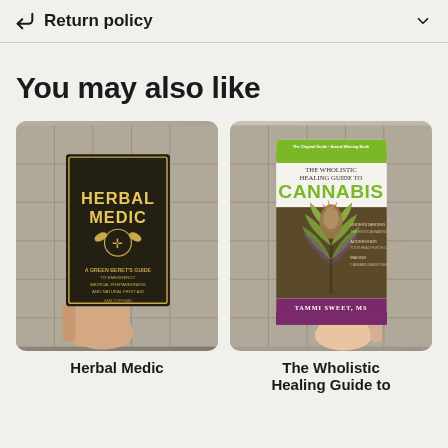Return policy
You may also like
[Figure (photo): Hand holding a book titled 'Herbal Medic: A Green Beret's Guide to Emergency Medical Preparedness and Natural First Aid' against a tile floor background]
[Figure (photo): Hand holding a book titled 'The Wholistic Healing Guide to Cannabis' by Tammi Sweet, MS, showing a cannabis plant on the cover, against a tile floor background]
Herbal Medic
The Wholistic Healing Guide to